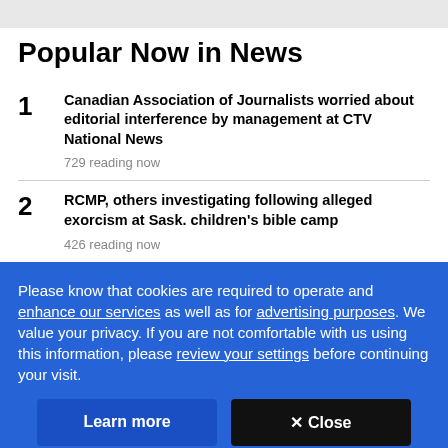Popular Now in News
Canadian Association of Journalists worried about editorial interference by management at CTV National News
729 reading now
RCMP, others investigating following alleged exorcism at Sask. children's bible camp
426 reading now
Please know that cookies are required to operate and enhance our services as well as for advertising purposes. We value your privacy. If you are not comfortable with us using this information, please review your settings before continuing your visit.